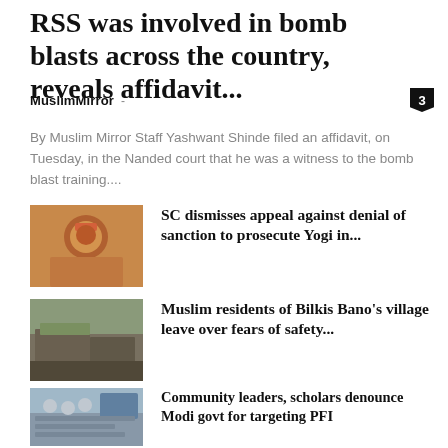RSS was involved in bomb blasts across the country, reveals affidavit...
MuslimMirror
By Muslim Mirror Staff Yashwant Shinde filed an affidavit, on Tuesday, in the Nanded court that he was a witness to the bomb blast training....
[Figure (photo): Photo of a person in orange robes speaking into a microphone]
SC dismisses appeal against denial of sanction to prosecute Yogi in...
[Figure (photo): Photo of a damaged or burned building]
Muslim residents of Bilkis Bano's village leave over fears of safety...
[Figure (photo): Photo of people seated at a conference or meeting]
Community leaders, scholars denounce Modi govt for targeting PFI
[Figure (photo): Photo of a person, partially visible with text overlay]
Chidambaram slams Gujarat's BJP govt for release of Bilkis Bano's 11